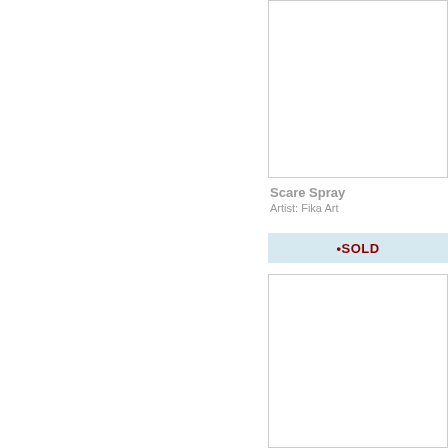[Figure (photo): Empty white image placeholder box, top right area]
Scare Spray
Artist: Fika Art
•SOLD
[Figure (photo): Empty white image placeholder box, bottom right area]